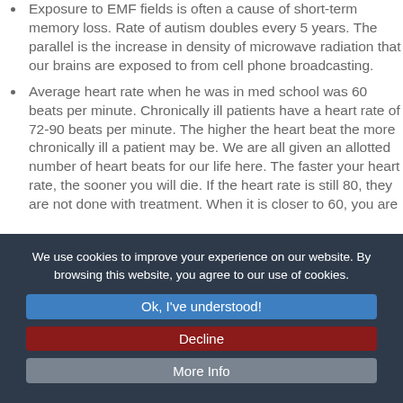Exposure to EMF fields is often a cause of short-term memory loss. Rate of autism doubles every 5 years. The parallel is the increase in density of microwave radiation that our brains are exposed to from cell phone broadcasting.
Average heart rate when he was in med school was 60 beats per minute. Chronically ill patients have a heart rate of 72-90 beats per minute. The higher the heart beat the more chronically ill a patient may be. We are all given an allotted number of heart beats for our life here. The faster your heart rate, the sooner you will die. If the heart rate is still 80, they are not done with treatment. When it is closer to 60, you are
We use cookies to improve your experience on our website. By browsing this website, you agree to our use of cookies.
Ok, I've understood!
Decline
More Info